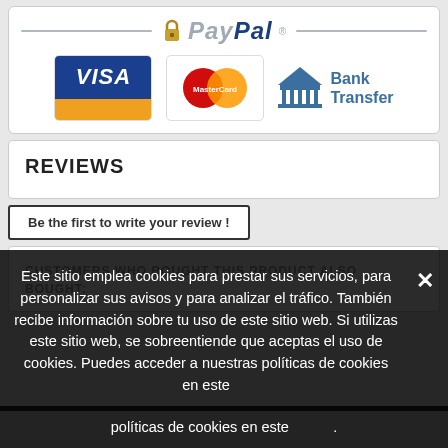[Figure (logo): PayPal payment widget showing VISA, MasterCard, and Bank Transfer payment options inside a bordered box with PayPal logo and padlock icon]
REVIEWS
Be the first to write your review !
CUSTOMERS WHO BOUGHT THIS PRODUCT ALSO BOUGHT:
Este sitio emplea cookies para prestar sus servicios, para personalizar sus avisos y para analizar el tráfico. También recibe información sobre tu uso de este sitio web. Si utilizas este sitio web, se sobreentiende que aceptas el uso de cookies. Puedes acceder a nuestras políticas de cookies en este .